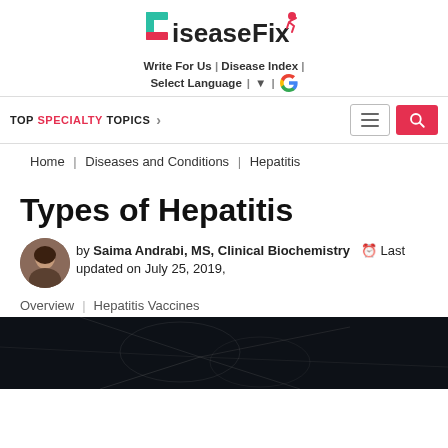[Figure (logo): DiseaseFix website logo with stylized bracket and running figure icon]
Write For Us | Disease Index | Select Language | ▼ | G
TOP SPECIALTY TOPICS
Home | Diseases and Conditions | Hepatitis
Types of Hepatitis
by Saima Andrabi, MS, Clinical Biochemistry  Last updated on July 25, 2019,
Overview | Hepatitis Vaccines
[Figure (photo): Dark background medical/anatomical illustration of liver]